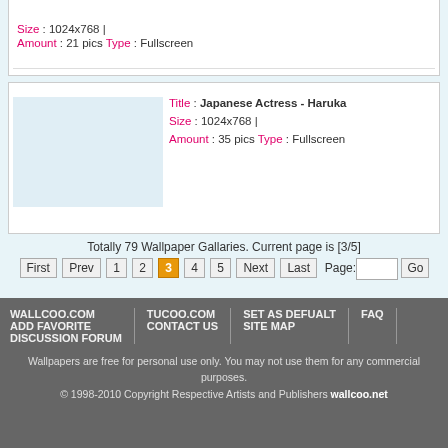Size : 1024x768 |
Amount : 21 pics Type : Fullscreen
Title : Japanese Actress - Haruka
Size : 1024x768 |
Amount : 35 pics Type : Fullscreen
Totally 79 Wallpaper Gallaries. Current page is [3/5]
First Prev 1 2 3 4 5 Next Last Page: Go
WALLCOO.COM TUCOO.COM SET AS DEFUALT ADD FAVORITE CONTACT US SITE MAP FAQ DISCUSSION FORUM
Wallpapers are free for personal use only. You may not use them for any commercial purposes.
© 1998-2010 Copyright Respective Artists and Publishers wallcoo.net